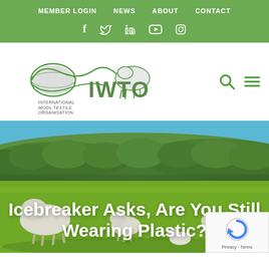MEMBER LOGIN   NEWS   ABOUT   CONTACT
[Figure (logo): IWTO International Wool Textile Organisation logo with globe, wool swirl, and leaping sheep]
[Figure (photo): Sheep grazing on green pasture with forested hills in background. Overlaid bold white text: Icebreaker Asks, Are You Still Wearing Plastic?]